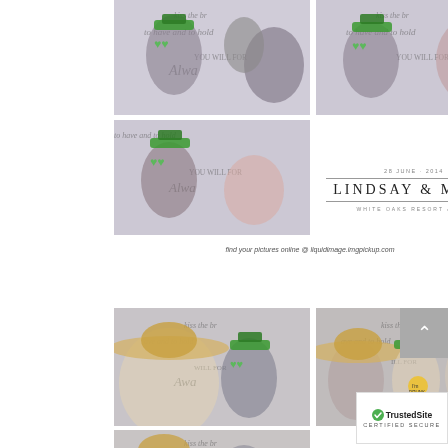[Figure (photo): Photo booth strip photo top-left: group of people wearing green novelty hats and heart-shaped glasses posing in front of a wedding-themed backdrop]
[Figure (photo): Photo booth strip photo top-right: group of people wearing green novelty hats and heart-shaped glasses posing in front of a wedding-themed backdrop]
[Figure (photo): Photo booth strip photo middle-left: group posing with green hats and glasses at wedding photo booth]
28 JUNE · 2014
LINDSAY & MARK
WHITE OAKS RESORT & SPA
find your pictures online @ liquidimage.imgpickup.com
[Figure (photo): Photo booth strip bottom-left: group wearing sombreros and green top hats at wedding photo booth]
[Figure (photo): Photo booth strip bottom-right: group wearing sombreros and green top hats at wedding photo booth]
[Figure (photo): Partial photo booth strip at very bottom-left: group with sombreros]
[Figure (logo): TrustedSite Certified Secure badge with green checkmark]